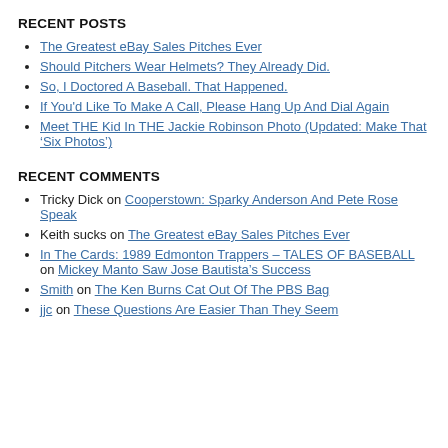RECENT POSTS
The Greatest eBay Sales Pitches Ever
Should Pitchers Wear Helmets? They Already Did.
So, I Doctored A Baseball. That Happened.
If You'd Like To Make A Call, Please Hang Up And Dial Again
Meet THE Kid In THE Jackie Robinson Photo (Updated: Make That ‘Six Photos’)
RECENT COMMENTS
Tricky Dick on Cooperstown: Sparky Anderson And Pete Rose Speak
Keith sucks on The Greatest eBay Sales Pitches Ever
In The Cards: 1989 Edmonton Trappers – TALES OF BASEBALL on Mickey Manto Saw Jose Bautista’s Success
Smith on The Ken Burns Cat Out Of The PBS Bag
jjc on These Questions Are Easier Than They Seem